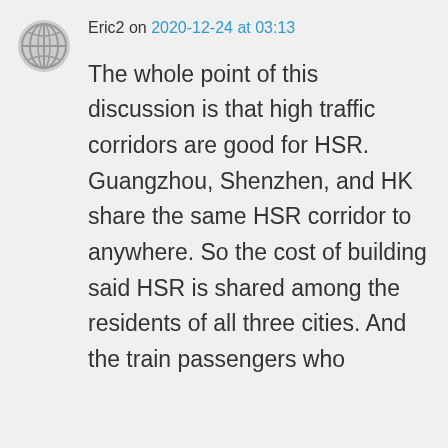Eric2 on 2020-12-24 at 03:13
The whole point of this discussion is that high traffic corridors are good for HSR. Guangzhou, Shenzhen, and HK share the same HSR corridor to anywhere. So the cost of building said HSR is shared among the residents of all three cities. And the train passengers who